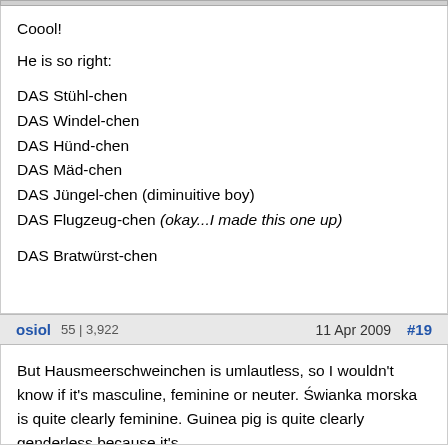Coool!

He is so right:

DAS Stühl-chen
DAS Windel-chen
DAS Hünd-chen
DAS Mäd-chen
DAS Jüngel-chen (diminuitive boy)
DAS Flugzeug-chen (okay...I made this one up)

DAS Bratwürst-chen
osiol  55 | 3,922   11 Apr 2009  #19
But Hausmeerschweinchen is umlautless, so I wouldn't know if it's masculine, feminine or neuter. Świanka morska is quite clearly feminine. Guinea pig is quite clearly genderless because it's